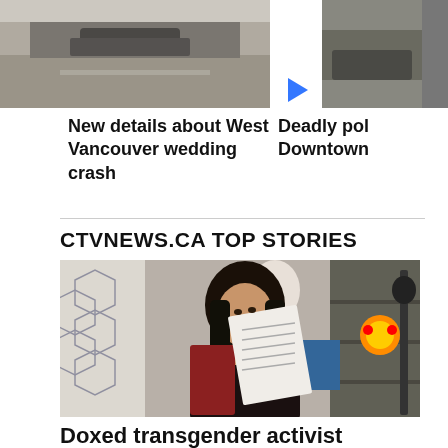[Figure (photo): Street scene photo, partial view of a parking lot or road, cropped at top]
[Figure (photo): Partial photo on right side, showing a vehicle or street scene, cropped]
New details about West Vancouver wedding crash
Deadly pol Downtown
CTVNEWS.CA TOP STORIES
[Figure (photo): Woman with long dark hair holding up a document/paper, seated at a desk with a microphone and shelving in background]
Doxed transgender activist